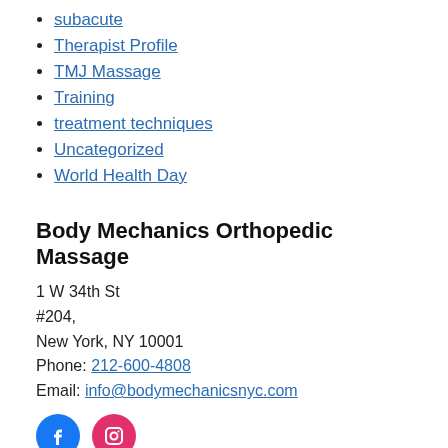subacute
Therapist Profile
TMJ Massage
Training
treatment techniques
Uncategorized
World Health Day
Body Mechanics Orthopedic Massage
1 W 34th St
#204,
New York, NY 10001
Phone: 212-600-4808
Email: info@bodymechanicsnyc.com
[Figure (illustration): Facebook and Instagram social media icon buttons]